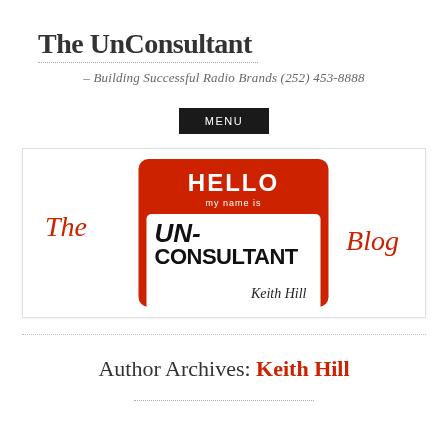The UnConsultant
– Building Successful Radio Brands (252) 453-8888
MENU
[Figure (illustration): The UnConsultant Blog banner image with a 'Hello my name is' name tag showing 'The UN-CONSULTANT Keith Hill' in large handwritten black text, with 'The' and 'Blog' in red italic text on either side.]
Author Archives: Keith Hill